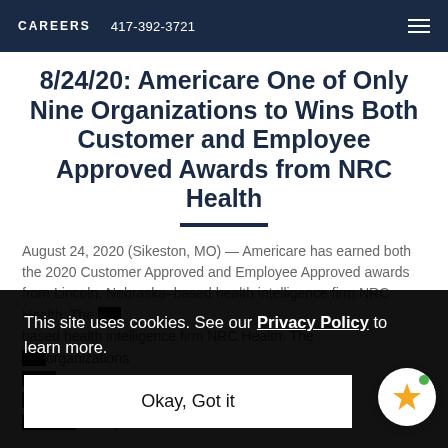CAREERS  417-392-3721
8/24/20: Americare One of Only Nine Organizations to Wins Both Customer and Employee Approved Awards from NRC Health
August 24, 2020 (Sikeston, MO) — Americare has earned both the 2020 Customer Approved and Employee Approved awards from Lincoln, Nebraska–based health intelligence firm NRC Health. The ... organizations ... award ... country
This site uses cookies. See our Privacy Policy to learn more.
Okay, Got it
as a Top 20 rated company out of 81 of the nations...